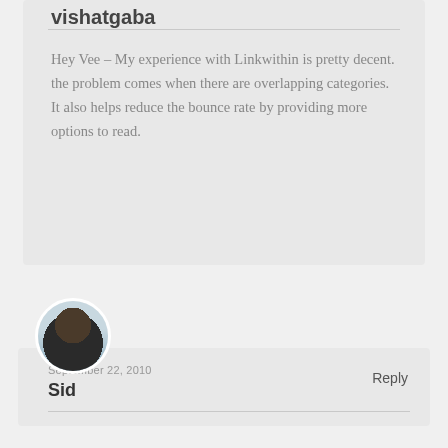vishatgaba
Hey Vee – My experience with Linkwithin is pretty decent. the problem comes when there are overlapping categories. It also helps reduce the bounce rate by providing more options to read.
[Figure (photo): Circular avatar photo of a person standing outdoors, wearing a dark long-sleeve shirt]
September 22, 2010
Sid
Reply